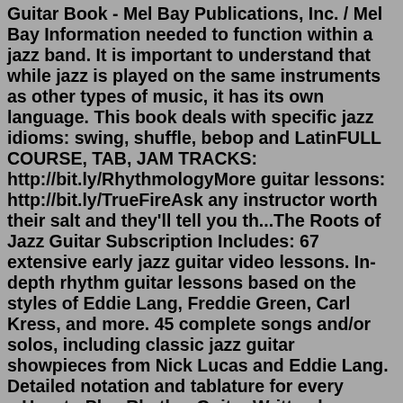Guitar Book - Mel Bay Publications, Inc. / Mel Bay Information needed to function within a jazz band. It is important to understand that while jazz is played on the same instruments as other types of music, it has its own language. This book deals with specific jazz idioms: swing, shuffle, bebop and LatinFULL COURSE, TAB, JAM TRACKS: http://bit.ly/RhythmologyMore guitar lessons: http://bit.ly/TrueFireAsk any instructor worth their salt and they'll tell you th...The Roots of Jazz Guitar Subscription Includes: 67 extensive early jazz guitar video lessons. In-depth rhythm guitar lessons based on the styles of Eddie Lang, Freddie Green, Carl Kress, and more. 45 complete songs and/or solos, including classic jazz guitar showpieces from Nick Lucas and Eddie Lang. Detailed notation and tablature for every ...How to Play Rhythm Guitar Written by user on September 29, 2015 (James Chirillo, Photo: Frank Stewart) If you've checked out our playlist on YouTube about how to approach rhythm section techniques, you may notice that the